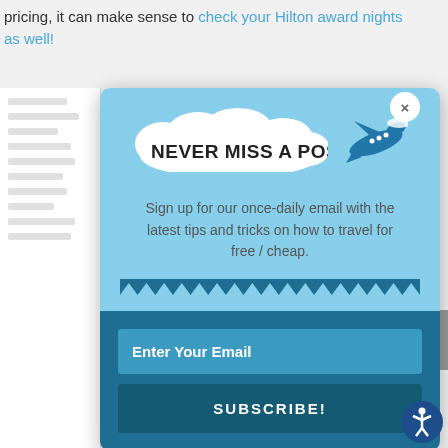pricing, it can make sense to check your Hilton award nights as well!
[Figure (screenshot): Email newsletter subscription modal popup with light blue background, cloud-styled title 'NEVER MISS A POST!' with airplane graphic, descriptive text about once-daily email tips, wave divider, email input field, and SUBSCRIBE! button on dark blue background]
Enter Your Email
SUBSCRIBE!